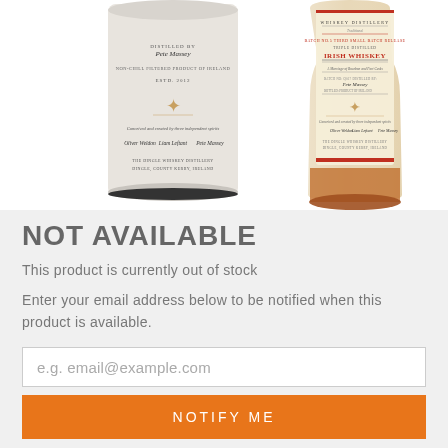[Figure (photo): Two Dingle Whiskey Distillery bottles side by side — a cylindrical grey/white tube container on the left and a glass bottle on the right showing Irish Whiskey label with signatures]
NOT AVAILABLE
This product is currently out of stock
Enter your email address below to be notified when this product is available.
e.g. email@example.com
NOTIFY ME